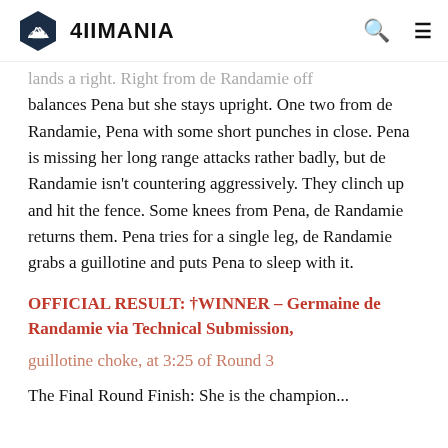4IIMANIA
lands a right. Right from de Randamie off balances Pena but she stays upright. One two from de Randamie, Pena with some short punches in close. Pena is missing her long range attacks rather badly, but de Randamie isn't countering aggressively. They clinch up and hit the fence. Some knees from Pena, de Randamie returns them. Pena tries for a single leg, de Randamie grabs a guillotine and puts Pena to sleep with it.
OFFICIAL RESULT: †WINNER – Germaine de Randamie via Technical Submission, guillotine choke, at 3:25 of Round 3
The Final Round Finish: She is the champion...